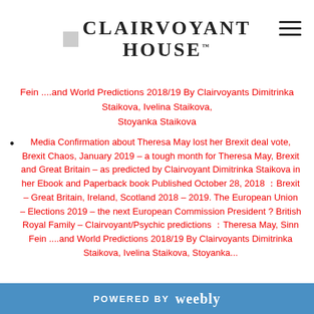CLAIRVOYANT HOUSE
Fein ....and World Predictions 2018/19 By Clairvoyants Dimitrinka Staikova, Ivelina Staikova, Stoyanka Staikova
Media Confirmation about Theresa May lost her Brexit deal vote, Brexit Chaos, January 2019 – a tough month for Theresa May, Brexit and Great Britain – as predicted by Clairvoyant Dimitrinka Staikova in her Ebook and Paperback book Published October 28, 2018 : Brexit – Great Britain, Ireland, Scotland 2018 – 2019. The European Union – Elections 2019 – the next European Commission President ? British Royal Family – Clairvoyant/Psychic predictions : Theresa May, Sinn Fein ....and World Predictions 2018/19 By Clairvoyants Dimitrinka Staikova, Ivelina Staikova, Stoyanka...
POWERED BY weebly